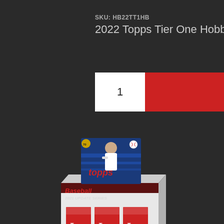SKU: HB22TT1HB
2022 Topps Tier One Hobby Box
1
Add to Cart
[Figure (photo): 2022 Topps Tier One Hobby Box product image showing a retail box with baseball card packs visible inside and a baseball player on the box artwork]